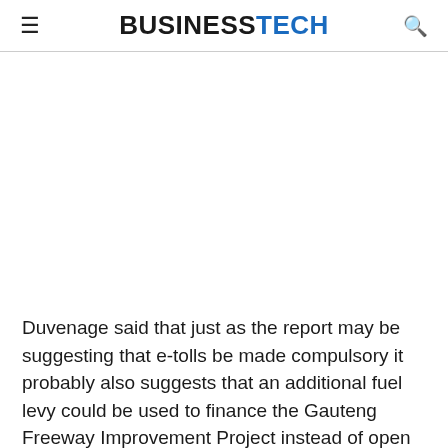BUSINESSTECH
Duvenage said that just as the report may be suggesting that e-tolls be made compulsory it probably also suggests that an additional fuel levy could be used to finance the Gauteng Freeway Improvement Project instead of open road tolling.